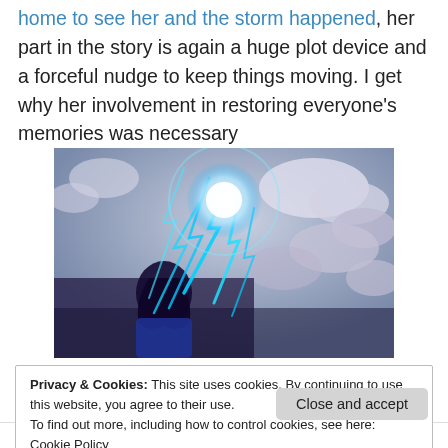home to see her and the storm happened, her part in the story is again a huge plot device and a forceful nudge to keep things moving. I get why her involvement in restoring everyone's memories was necessary
[Figure (illustration): Anime-style illustration of a female character with blue energy lightning radiating outward against a cloudy sky background]
Privacy & Cookies: This site uses cookies. By continuing to use this website, you agree to their use. To find out more, including how to control cookies, see here: Cookie Policy
Close and accept